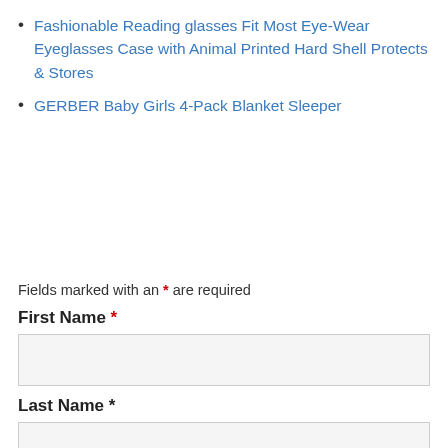Fashionable Reading glasses Fit Most Eye-Wear Eyeglasses Case with Animal Printed Hard Shell Protects & Stores
GERBER Baby Girls 4-Pack Blanket Sleeper
Fields marked with an * are required
First Name *
Last Name *